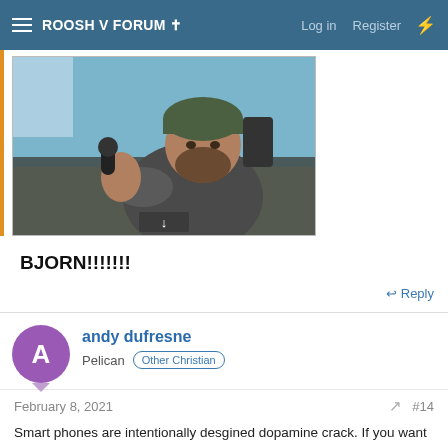ROOSH V FORUM ✝  Log in  Register
[Figure (photo): Man with beard and green knit hat sitting in a car, holding a microphone, gesturing with hand, winter scene visible outside]
BJORN!!!!!!!
↩ Reply
andy dufresne
Pelican  Other Christian
February 8, 2021
#14
Smart phones are intentionally desgined dopamine crack. If you want to start the process of disconnecting switch them to black